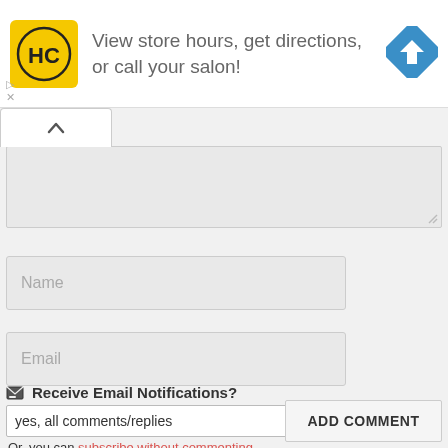[Figure (screenshot): Advertisement banner with HC salon logo (yellow square with HC letters), text 'View store hours, get directions, or call your salon!', and a blue diamond navigation icon on the right.]
View store hours, get directions, or call your salon!
[Figure (screenshot): Web form with collapse tab (chevron up), textarea, Name input, Email input, email notification dropdown selects, subscribe link, and ADD COMMENT button.]
Name
Email
📧 Receive Email Notifications?
yes, all comments/replies
instantly
Or, you can subscribe without commenting.